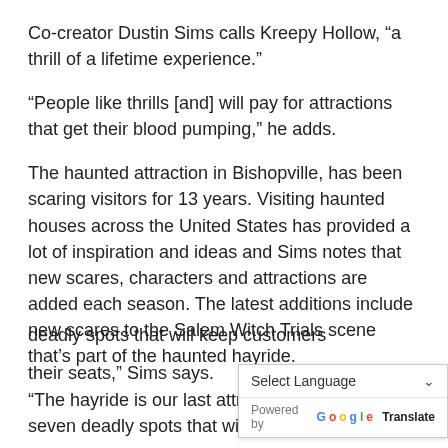Co-creator Dustin Sims calls Kreepy Hollow, “a thrill of a lifetime experience.”
“People like thrills [and] will pay for attractions that get their blood pumping,” he adds.
The haunted attraction in Bishopville, has been scaring visitors for 13 years. Visiting haunted houses across the United States has provided a lot of inspiration and ideas and Sims notes that new scares, characters and attractions are added each season. The latest additions include new scares to the Salem Witch Trials scene that’s part of the haunted hayride.
“The hayride is our last attraction and offers seven deadly spots that will keep customers glued to their seats,” Sims says.